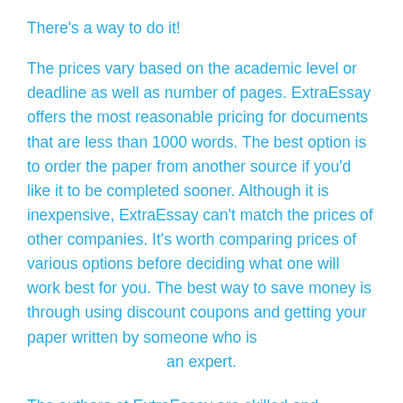There's a way to do it!
The prices vary based on the academic level or deadline as well as number of pages. ExtraEssay offers the most reasonable pricing for documents that are less than 1000 words. The best option is to order the paper from another source if you'd like it to be completed sooner. Although it is inexpensive, ExtraEssay can't match the prices of other companies. It's worth comparing prices of various options before deciding what one will work best for you. The best way to save money is through using discount coupons and getting your paper written by someone who is an expert.
The authors at ExtraEssay are skilled and competent. They assure that their work is plagiarism-free and is 100%